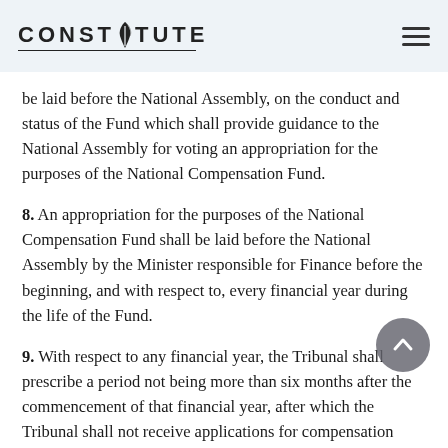CONSTITUTE
be laid before the National Assembly, on the conduct and status of the Fund which shall provide guidance to the National Assembly for voting an appropriation for the purposes of the National Compensation Fund.
8. An appropriation for the purposes of the National Compensation Fund shall be laid before the National Assembly by the Minister responsible for Finance before the beginning, and with respect to, every financial year during the life of the Fund.
9. With respect to any financial year, the Tribunal shall prescribe a period not being more than six months after the commencement of that financial year, after which the Tribunal shall not receive applications for compensation within that financial year from the